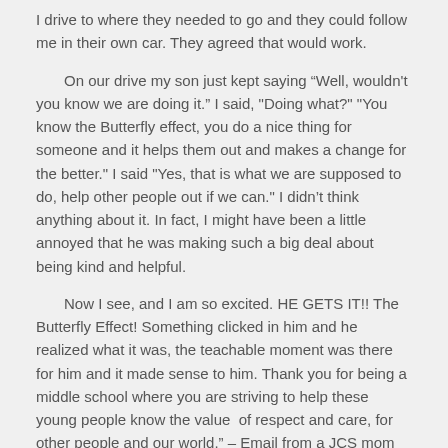I drive to where they needed to go and they could follow me in their own car. They agreed that would work.
On our drive my son just kept saying “Well, wouldn't you know we are doing it.” I said, "Doing what?" "You know the Butterfly effect, you do a nice thing for someone and it helps them out and makes a change for the better." I said "Yes, that is what we are supposed to do, help other people out if we can." I didn’t think anything about it. In fact, I might have been a little annoyed that he was making such a big deal about being kind and helpful.
Now I see, and I am so excited. HE GETS IT!! The Butterfly Effect! Something clicked in him and he realized what it was, the teachable moment was there for him and it made sense to him. Thank you for being a middle school where you are striving to help these young people know the value of respect and care, for other people and our world.” – Email from a JCS mom